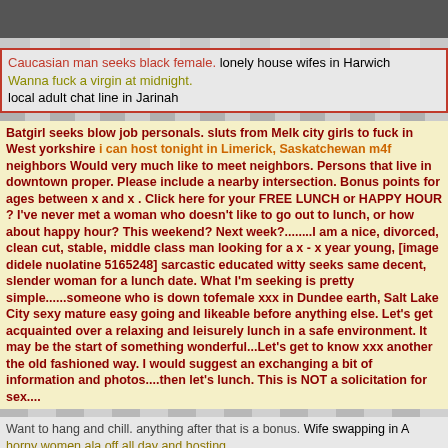[Figure (photo): Dark photo at top of page, partially visible]
Caucasian man seeks black female. lonely house wifes in Harwich Wanna fuck a virgin at midnight. local adult chat line in Jarinah
Batgirl seeks blow job personals. sluts from Melk city girls to fuck in West yorkshire i can host tonight in Limerick, Saskatchewan m4f neighbors Would very much like to meet neighbors. Persons that live in downtown proper. Please include a nearby intersection. Bonus points for ages between x and x . Click here for your FREE LUNCH or HAPPY HOUR ? I've never met a woman who doesn't like to go out to lunch, or how about happy hour? This weekend? Next week?........I am a nice, divorced, clean cut, stable, middle class man looking for a x - x year young, [image didele nuolatine 5165248] sarcastic educated witty seeks same decent, slender woman for a lunch date. What I'm seeking is pretty simple......someone who is down tofemale xxx in Dundee earth, Salt Lake City sexy mature easy going and likeable before anything else. Let's get acquainted over a relaxing and leisurely lunch in a safe environment. It may be the start of something wonderful...Let's get to know xxx another the old fashioned way. I would suggest an exchanging a bit of information and photos....then let's lunch. This is NOT a solicitation for sex....
Want to hang and chill. anything after that is a bonus. Wife swapping in A horny women ala off all day and hosting. free sex dating Casper